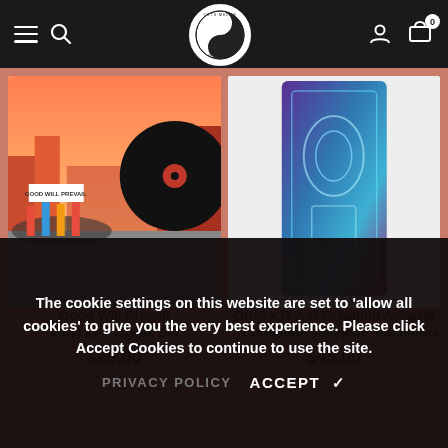Navigation bar with hamburger menu, search icon, Cuts Melon Grizzee logo, user icon, and cart icon (0)
[Figure (photo): Good Will Prevail album vinyl cover artwork showing animated street protest scene with record]
[Figure (photo): GRiZ x R.A.G.E. Nation Apparel Tourmaline Jellyfish Pashmina product image with colorful blue and purple tapestry pattern]
Good Will Prevail Vinyl LP - 2 Disk Set
$25.00
GRiZ x R.A.G.E. Nation Apparel "Tourmaline Jellyfish" Pashmina
$45.00
The cookie settings on this website are set to 'allow all cookies' to give you the very best experience. Please click Accept Cookies to continue to use the site.
PRIVACY POLICY   ACCEPT ✓